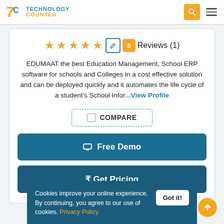Technology Counter
★★★★★  [edit]  5  Reviews (1)
EDUMAAT the best Education Management, School ERP software for schools and Colleges in a cost effective solution and can be deployed quickly and it automates the life cycle of a student's School Infor...View Profile
☐ COMPARE
🖥 Free Demo
₹ Get Pricing
Cookies improve your online experience. By continuing, you agree to our use of cookies. Privacy Policy  Got it!